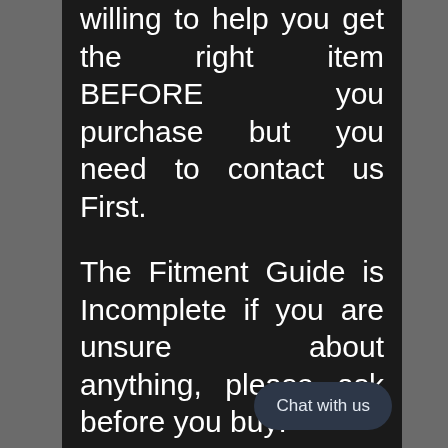willing to help you get the right item BEFORE you purchase but you need to contact us First.
The Fitment Guide is Incomplete if you are unsure about anything, please ask before you buy!
Part # = USA-5450-5450A4-64.1
Vehicle Bolt Pat 5x4.5